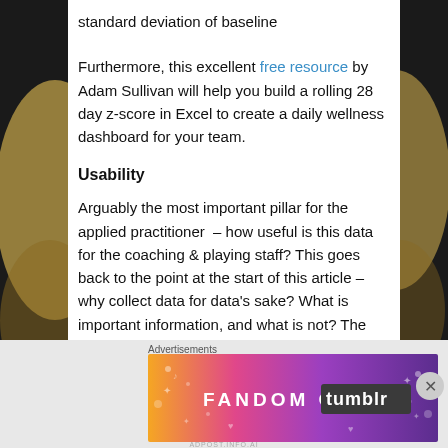standard deviation of baseline
Furthermore, this excellent free resource by Adam Sullivan will help you build a rolling 28 day z-score in Excel to create a daily wellness dashboard for your team.
Usability
Arguably the most important pillar for the applied practitioner – how useful is this data for the coaching & playing staff? This goes back to the point at the start of this article – why collect data for data's sake? What is important information, and what is not? The latter can be a difficult question for the applied practitioner to ask, but it's vital we
Advertisements
[Figure (infographic): Fandom on Tumblr advertisement banner with colorful gradient background in orange, pink, and purple with white text and decorative elements]